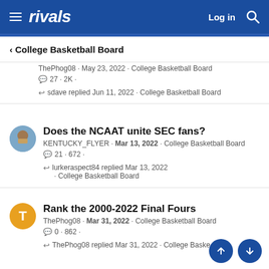rivals — Log in
College Basketball Board
ThePhog08 · May 23, 2022 · College Basketball Board
💬27 · 2K ·
↩ sdave replied Jun 11, 2022 · College Basketball Board
Does the NCAAT unite SEC fans?
KENTUCKY_FLYER · Mar 13, 2022 · College Basketball Board
💬21 · 672 ·
↩ lurkeraspect84 replied Mar 13, 2022 · College Basketball Board
Rank the 2000-2022 Final Fours
ThePhog08 · Mar 31, 2022 · College Basketball Board
💬0 · 862 ·
↩ ThePhog08 replied Mar 31, 2022 · College Basketball Board